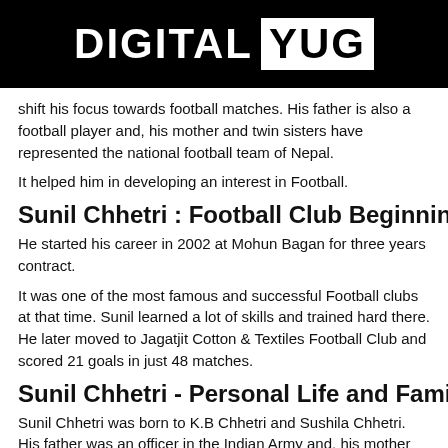DIGITAL YUG
shift his focus towards football matches. His father is also a football player and, his mother and twin sisters have represented the national football team of Nepal.
It helped him in developing an interest in Football.
Sunil Chhetri : Football Club Beginning
He started his career in 2002 at Mohun Bagan for three years contract.
It was one of the most famous and successful Football clubs at that time. Sunil learned a lot of skills and trained hard there. He later moved to Jagatjit Cotton & Textiles Football Club and scored 21 goals in just 48 matches.
Sunil Chhetri - Personal Life and Family
Sunil Chhetri was born to K.B Chhetri and Sushila Chhetri. His father was an officer in the Indian Army and, his mother was a football player too. He has a twin sister who is also a footballer.